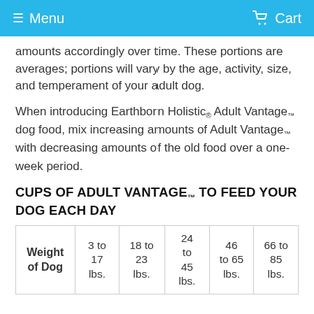Menu   Cart
amounts accordingly over time. These portions are averages; portions will vary by the age, activity, size, and temperament of your adult dog.
When introducing Earthborn Holistic® Adult Vantage™ dog food, mix increasing amounts of Adult Vantage™ with decreasing amounts of the old food over a one-week period.
CUPS OF ADULT VANTAGE™ TO FEED YOUR DOG EACH DAY
| Weight of Dog | 3 to 17 lbs. | 18 to 23 lbs. | 24 to 45 lbs. | 46 to 65 lbs. | 66 to 85 lbs. |
| --- | --- | --- | --- | --- | --- |